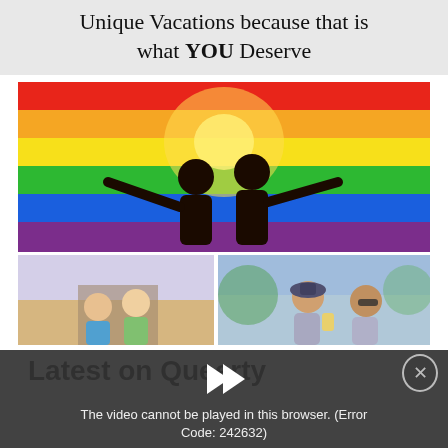Unique Vacations because that is what YOU Deserve
[Figure (photo): Two silhouetted figures holding a rainbow pride flag against a bright sunlit sky]
[Figure (photo): Two women laughing together outdoors near a pier]
[Figure (photo): Two men outdoors, one holding a drink, wearing sunglasses]
Latest on Queerty
[Figure (screenshot): Video player overlay showing error message: The video cannot be played in this browser. (Error Code: 242632) with play button icon and close button]